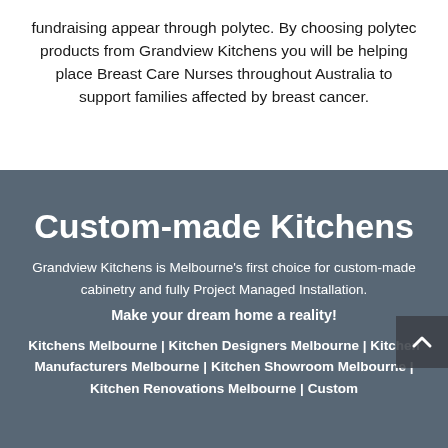fundraising appear through polytec. By choosing polytec products from Grandview Kitchens you will be helping place Breast Care Nurses throughout Australia to support families affected by breast cancer.
[Figure (photo): Dark blue-grey overlay background showing a blurred kitchen interior]
Custom-made Kitchens
Grandview Kitchens is Melbourne's first choice for custom-made cabinetry and fully Project Managed Installation.
Make your dream home a reality!
Kitchens Melbourne | Kitchen Designers Melbourne | Kitchen Manufacturers Melbourne | Kitchen Showroom Melbourne | Kitchen Renovations Melbourne | Custom